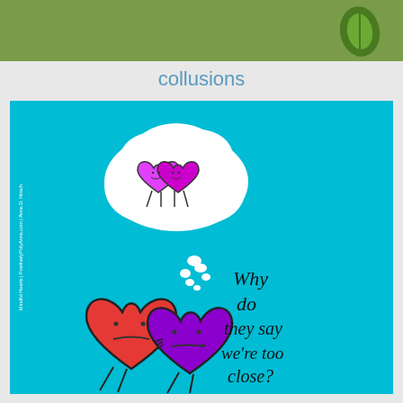[Figure (illustration): Top olive/green banner strip at the top of the page, partially showing text and a green leaf logo.]
collusions
[Figure (illustration): Cartoon illustration on a bright cyan/turquoise background. Two heart-shaped characters (red and purple) with stick legs are connected by lines at their mouths, suggesting closeness or enmeshment. Above them is a thought bubble containing two heart characters (pink/magenta) hugging. To the right, handwritten-style text reads 'Why do they say we're too close?' Vertical text on the left side reads 'Mindful Hearts | PositivelyPolyAnna.com | Anna D. Hirsch']